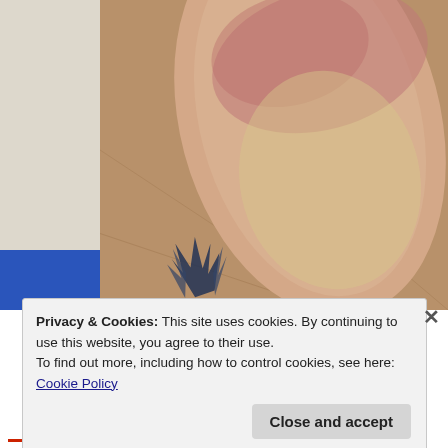[Figure (photo): Close-up photograph of a human arm/wrist showing skin discoloration, redness and bruising. A tattoo with dark flame-like design is visible at the lower portion. The background is a brownish floor. On the left side there is a white/beige border and blue fabric.]
Privacy & Cookies: This site uses cookies. By continuing to use this website, you agree to their use.
To find out more, including how to control cookies, see here: Cookie Policy
Close and accept